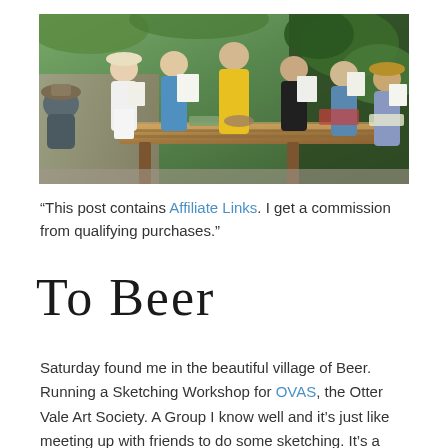[Figure (photo): Outdoor group photo of people holding sketchbooks/paper at a wooden table under a pergola covered in ivy. Several people are standing, one is wearing a yellow shirt, another in white, others in blue. The scene is sunny and verdant.]
“This post contains Affiliate Links. I get a commission from qualifying purchases.”
To Beer
Saturday found me in the beautiful village of Beer. Running a Sketching Workshop for OVAS, the Otter Vale Art Society. A Group I know well and it’s just like meeting up with friends to do some sketching. It’s a